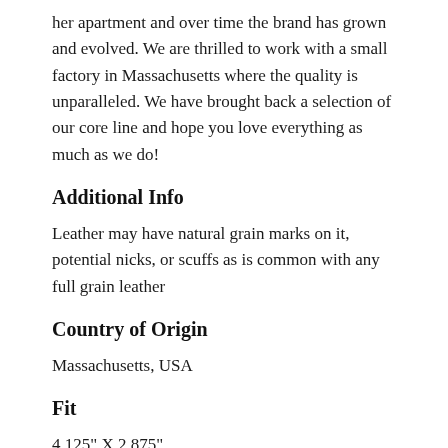her apartment and over time the brand has grown and evolved. We are thrilled to work with a small factory in Massachusetts where the quality is unparalleled. We have brought back a selection of our core line and hope you love everything as much as we do!
Additional Info
Leather may have natural grain marks on it, potential nicks, or scuffs as is common with any full grain leather
Country of Origin
Massachusetts, USA
Fit
4.125" X 2.875"
Material